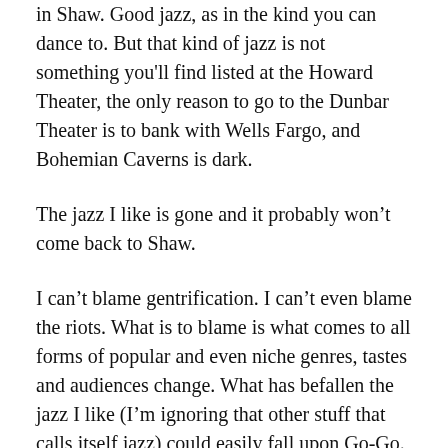in Shaw. Good jazz, as in the kind you can dance to. But that kind of jazz is not something you'll find listed at the Howard Theater, the only reason to go to the Dunbar Theater is to bank with Wells Fargo, and Bohemian Caverns is dark.
The jazz I like is gone and it probably won't come back to Shaw.
I can't blame gentrification. I can't even blame the riots. What is to blame is what comes to all forms of popular and even niche genres, tastes and audiences change. What has befallen the jazz I like (I'm ignoring that other stuff that calls itself jazz) could easily fall upon Go-Go. The audience that grew up with it gets older, younger audiences are more into something else. The artists change, they may want to pursue or try new things. The market changes, as people stop buying CDs and CD players and